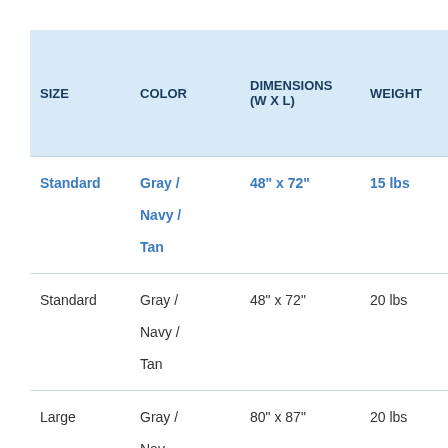| SIZE | COLOR | DIMENSIONS (W x L) | WEIGHT | DRE... SER... SLE... WEI... BLA... PRI... |
| --- | --- | --- | --- | --- |
| Standard | Gray / Navy / Tan | 48" x 72" | 15 lbs | $149... |
| Standard | Gray / Navy / Tan | 48" x 72" | 20 lbs | $159... |
| Large | Gray / Navy /... | 80" x 87" | 20 lbs | $179... |